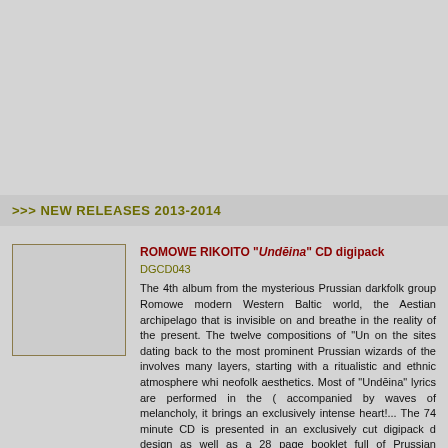>>> NEW RELEASES 2013-2014
[Figure (other): Album cover placeholder image for Romowe Rikoito Undeina CD digipack]
ROMOWE RIKOITO "Undēina" CD digipack
DGCD043
The 4th album from the mysterious Prussian darkfolk group Romowe modern Western Baltic world, the Aestian archipelago that is invisible on and breathe in the reality of the present. The twelve compositions of "Un on the sites dating back to the most prominent Prussian wizards of the involves many layers, starting with a ritualistic and ethnic atmosphere whi neofolk aesthetics. Most of "Undēina" lyrics are performed in the ( accompanied by waves of melancholy, it brings an exclusively intense heart!... The 74 minute CD is presented in an exclusively cut digipack d design as well as a 28 page booklet full of Prussian mythology symbols, and English.
• 30Lt / €12  |  DETAILS / SAMPLES